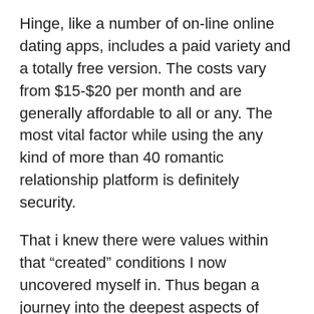Hinge, like a number of on-line online dating apps, includes a paid variety and a totally free version. The costs vary from $15-$20 per month and are generally affordable to all or any. The most vital factor while using the any kind of more than 40 romantic relationship platform is definitely security.
That i knew there were values within that “created” conditions I now uncovered myself in. Thus began a journey into the deepest aspects of myself. I just started asking yourself every little thing and everyone that was in warring. It would not occur abruptly, but over the time period. We felt I experienced a real non secular waking up the evening I found my ex-husband was disloyal. I were feeling that every little thing I had been hiding out of myself and the world burst open out of me like I hit a